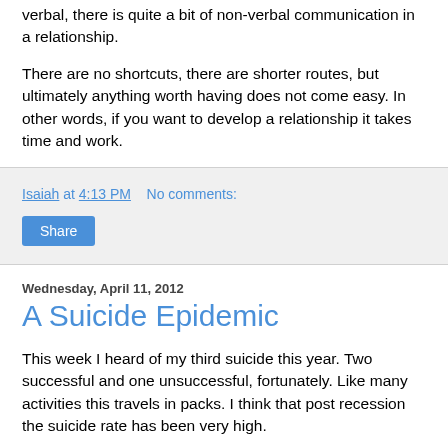verbal, there is quite a bit of non-verbal communication in a relationship.
There are no shortcuts, there are shorter routes, but ultimately anything worth having does not come easy. In other words, if you want to develop a relationship it takes time and work.
Isaiah at 4:13 PM    No comments:
Share
Wednesday, April 11, 2012
A Suicide Epidemic
This week I heard of my third suicide this year. Two successful and one unsuccessful, fortunately. Like many activities this travels in packs. I think that post recession the suicide rate has been very high.
I ...